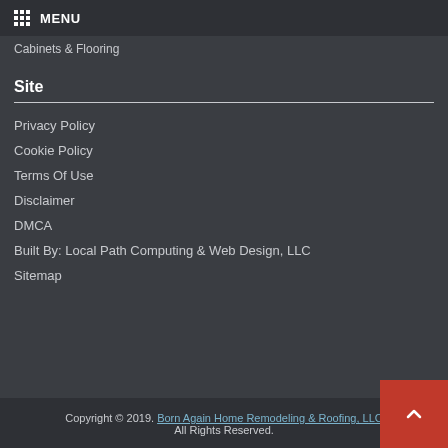MENU
Cabinets & Flooring
Site
Privacy Policy
Cookie Policy
Terms Of Use
Disclaimer
DMCA
Built By: Local Path Computing & Web Design, LLC
Sitemap
Copyright © 2019. Born Again Home Remodeling & Roofing, LLC All Rights Reserved.